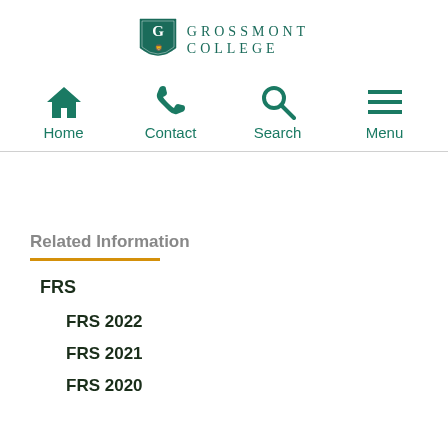[Figure (logo): Grossmont College shield logo with teal color and text 'GROSSMONT COLLEGE' in spaced serif letters]
[Figure (infographic): Navigation bar with four icons and labels: Home (house icon), Contact (phone icon), Search (magnifying glass icon), Menu (hamburger icon), all in teal color]
Related Information
FRS
FRS 2022
FRS 2021
FRS 2020